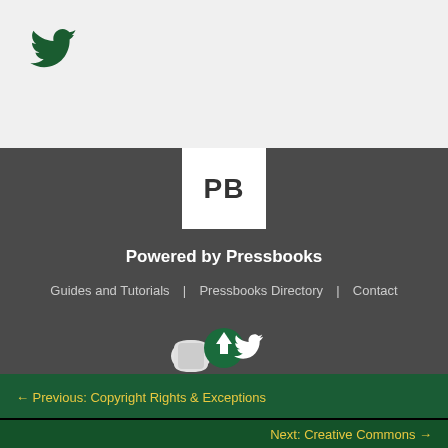[Figure (logo): Twitter bird logo in dark green, top left corner]
[Figure (logo): Pressbooks PB logo — white square with bold PB letters]
Powered by Pressbooks
Guides and Tutorials  |  Pressbooks Directory  |  Contact
[Figure (logo): Social share icons row: Pressbooks icon, green upload arrow circle, Twitter bird — white on dark background]
← Previous: Copyright Rights & Exceptions
Next: Creative Commons →